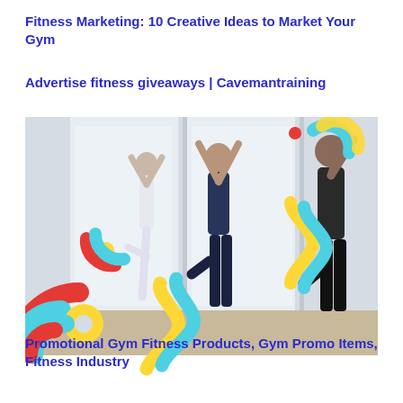Fitness Marketing: 10 Creative Ideas to Market Your Gym
Advertise fitness giveaways | Cavemantraining
[Figure (photo): Three people practicing a yoga tree pose in a bright studio, with colorful decorative graphic elements (teal, yellow, red) overlaid around the image]
Promotional Gym Fitness Products, Gym Promo Items, Fitness Industry